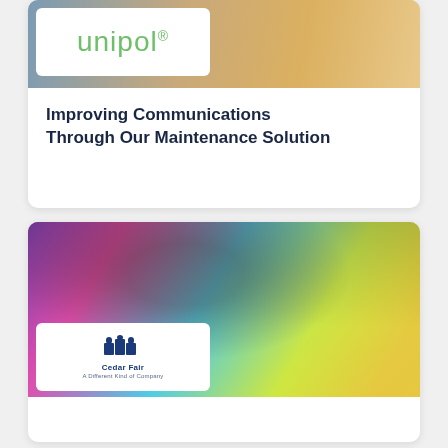[Figure (photo): Unipol branded card with white logo box overlaid on photo of person at desk with laptop and small house model. Background shows hands and documents.]
Improving Communications Through Our Maintenance Solution
[Figure (photo): Cedar Fair branded card with smiling young woman holding colorful items at what appears to be an amusement park setting with colorful swirl decorations in the background. Cedar Fair logo in white box overlay.]